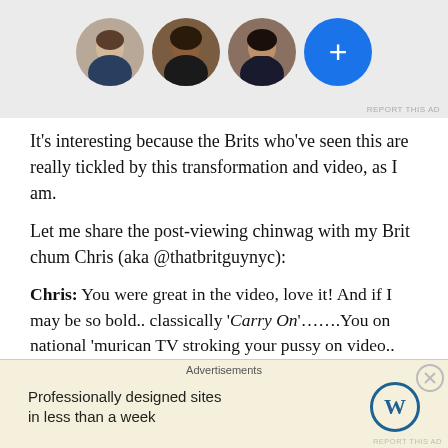[Figure (illustration): Ad banner showing three circular profile photo avatars (woman with light skin, woman with dark skin, man with beard) and a blue circle with a white plus sign]
It's interesting because the Brits who've seen this are really tickled by this transformation and video, as I am.
Let me share the post-viewing chinwag with my Brit chum Chris (aka @thatbritguynyc):
Chris: You were great in the video, love it! And if I may be so bold.. classically ‘Carry On’……You on national ‘murican TV stroking your pussy on video.. and talk of musical beds… *Sid James laugh*
[Figure (screenshot): WordPress advertisement: 'Professionally designed sites in less than a week' with WordPress logo]